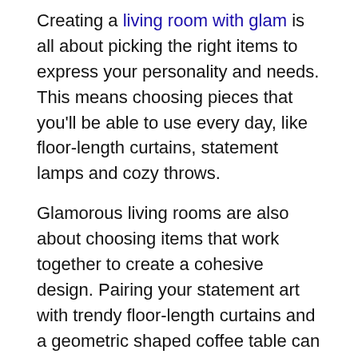Creating a living room with glam is all about picking the right items to express your personality and needs. This means choosing pieces that you'll be able to use every day, like floor-length curtains, statement lamps and cozy throws.
Glamorous living rooms are also about choosing items that work together to create a cohesive design. Pairing your statement art with trendy floor-length curtains and a geometric shaped coffee table can help you create a living room that's truly glamorous.
[Figure (photo): Circular avatar photo of a man named Filip with a beard and reddish hair, smiling.]
Filip